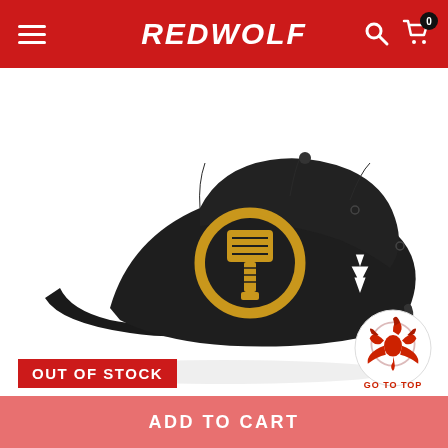REDWOLF
[Figure (photo): Black baseball cap with gold Thor hammer (Mjolnir) logo in a circle on the front panel, and a small white logo on the side. Cap shown in 3/4 view on white background.]
[Figure (logo): Go To Top button with a red Targaryen-style dragon sigil and text 'GO TO TOP']
OUT OF STOCK
ADD TO CART